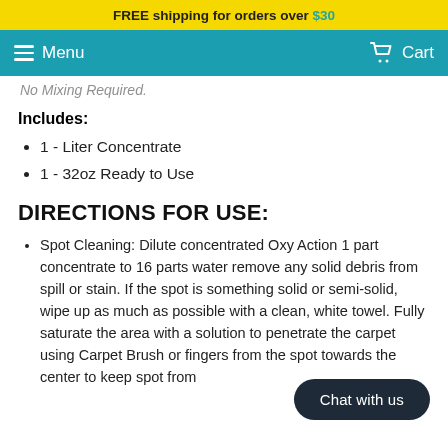FREE shipping for orders over $30
Menu   Cart
No Mixing Required.
Includes:
1 - Liter Concentrate
1 - 32oz Ready to Use
DIRECTIONS FOR USE:
Spot Cleaning: Dilute concentrated Oxy Action 1 part concentrate to 16 parts water remove any solid debris from spill or stain. If the spot is something solid or semi-solid, wipe up as much as possible with a clean, white towel. Fully saturate the area with a solution to penetrate the carpet using Carpet Brush or fingers from the spot towards the center to keep spot from